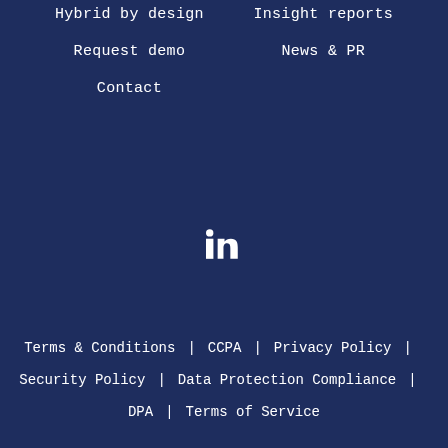Hybrid by design
Insight reports
Request demo
News & PR
Contact
[Figure (logo): LinkedIn icon in white]
Terms & Conditions | CCPA | Privacy Policy | Security Policy | Data Protection Compliance | DPA | Terms of Service